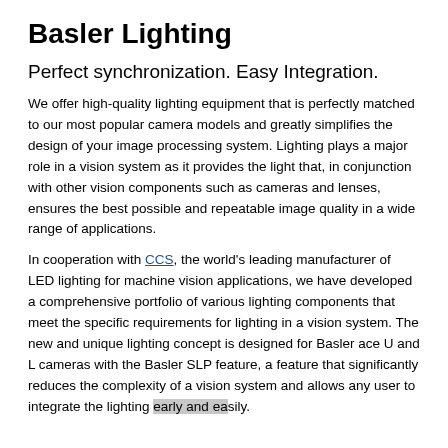Basler Lighting
Perfect synchronization. Easy Integration.
We offer high-quality lighting equipment that is perfectly matched to our most popular camera models and greatly simplifies the design of your image processing system. Lighting plays a major role in a vision system as it provides the light that, in conjunction with other vision components such as cameras and lenses, ensures the best possible and repeatable image quality in a wide range of applications.
In cooperation with CCS, the world's leading manufacturer of LED lighting for machine vision applications, we have developed a comprehensive portfolio of various lighting components that meet the specific requirements for lighting in a vision system. The new and unique lighting concept is designed for Basler ace U and L cameras with the Basler SLP feature, a feature that significantly reduces the complexity of a vision system and allows any user to integrate the lighting early and easily.